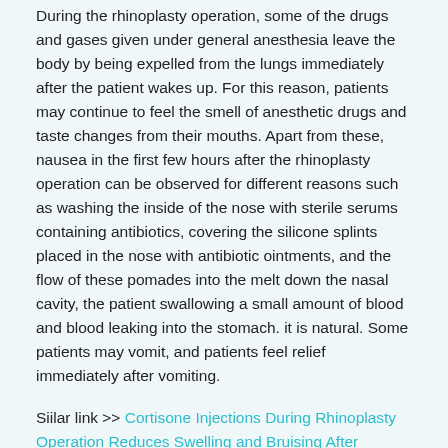During the rhinoplasty operation, some of the drugs and gases given under general anesthesia leave the body by being expelled from the lungs immediately after the patient wakes up. For this reason, patients may continue to feel the smell of anesthetic drugs and taste changes from their mouths. Apart from these, nausea in the first few hours after the rhinoplasty operation can be observed for different reasons such as washing the inside of the nose with sterile serums containing antibiotics, covering the silicone splints placed in the nose with antibiotic ointments, and the flow of these pomades into the melt down the nasal cavity, the patient swallowing a small amount of blood and blood leaking into the stomach. it is natural. Some patients may vomit, and patients feel relief immediately after vomiting.
Siilar link >> Cortisone Injections During Rhinoplasty Operation Reduces Swelling and Bruising After Surgery!
Source links >> What to Expect While Recovering from a Rhinoplasty | Rhinoplasty with latest resources and knowledge